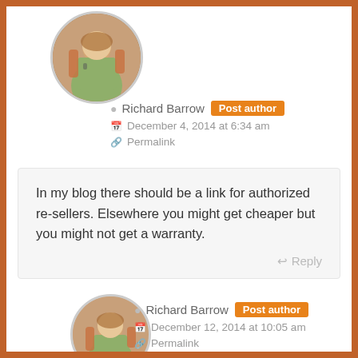[Figure (photo): Circular avatar photo of Richard Barrow, a man standing outdoors with a backpack, top of page]
Richard Barrow  Post author
December 4, 2014 at 6:34 am
Permalink
In my blog there should be a link for authorized re-sellers. Elsewhere you might get cheaper but you might not get a warranty.
Reply
[Figure (photo): Circular avatar photo of Richard Barrow, a man standing outdoors with a backpack, bottom of page]
Richard Barrow  Post author
December 12, 2014 at 10:05 am
Permalink